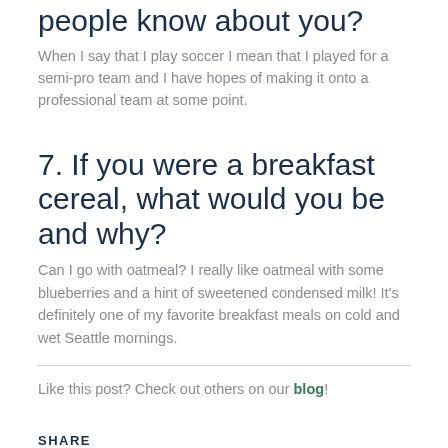people know about you?
When I say that I play soccer I mean that I played for a semi-pro team and I have hopes of making it onto a professional team at some point.
7. If you were a breakfast cereal, what would you be and why?
Can I go with oatmeal? I really like oatmeal with some blueberries and a hint of sweetened condensed milk! It’s definitely one of my favorite breakfast meals on cold and wet Seattle mornings.
Like this post? Check out others on our blog!
SHARE